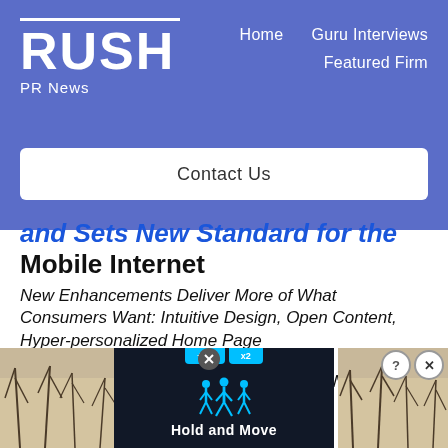RUSH PR News — Home | Guru Interviews | Featured Firm | Contact Us
and Sets New Standard for the Mobile Internet
New Enhancements Deliver More of What Consumers Want: Intuitive Design, Open Content, Hyper-personalized Home Page
LAS VEGAS, Jan 07, 2008 (RUSHPRNEWS) — Yahoo! Inc.
[Figure (screenshot): Advertisement banner at bottom of page showing 'Hold and Move' with cyan figures icon on dark background, with tree photos on sides and close/help buttons]